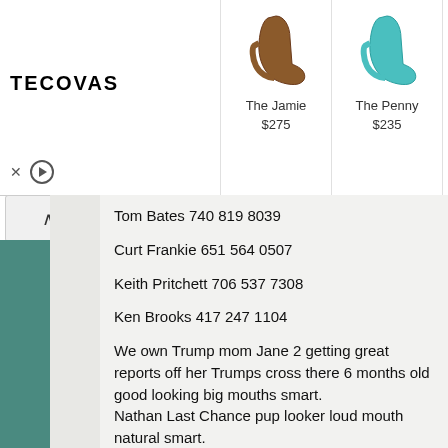[Figure (screenshot): Tecovas boot advertisement showing logo and four boot products: The Jamie $275, The Penny $235, The Jenny $225, The Jamie $275]
Tom Bates 740 819 8039

Curt Frankie 651 564 0507

Keith Pritchett 706 537 7308

Ken Brooks 417 247 1104

We own Trump mom Jane 2 getting great reports off her Trumps cross there 6 months old good looking big mouths smart.
Nathan Last Chance pup looker loud mouth natural smart.

J&N Kennels Home of House Bred Treeing Walkers Proud to serve God.
JD Mattison 417 247 9832

Nathan Berry 417 247 1670
Home of
Pr House's Trump @ stud 300$ Ukc Pkc.